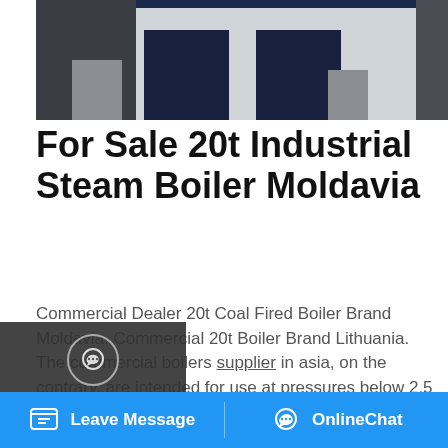[Figure (photo): Industrial steam boiler equipment, dark blue/navy colored units on grey floor background]
For Sale 20t Industrial Steam Boiler Moldavia
Commercial Dealer 20t Coal Fired Boiler Brand Moldavia. Commercial 20t Boiler Brand Lithuania. The commercial boilers supplier in asia, on the contrary, are intended for use at pressures below 2.5 MPa. commercial boilers supplier in asia have a capacity of below 20t/h, while water tube ones 20t or more as capacity expansion is possible. commercial ...